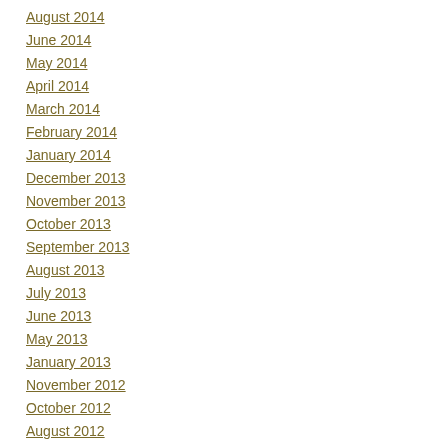August 2014
June 2014
May 2014
April 2014
March 2014
February 2014
January 2014
December 2013
November 2013
October 2013
September 2013
August 2013
July 2013
June 2013
May 2013
January 2013
November 2012
October 2012
August 2012